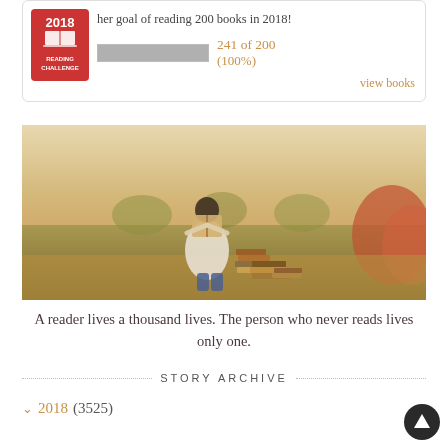her goal of reading 200 books in 2018!
241 of 200 (100%)
view books
[Figure (photo): A person sitting outdoors in an autumn field, reading a book held up in front of their face, with stacks of books piled beside them and fall foliage in the background.]
A reader lives a thousand lives. The person who never reads lives only one.
STORY ARCHIVE
2018 (3525)